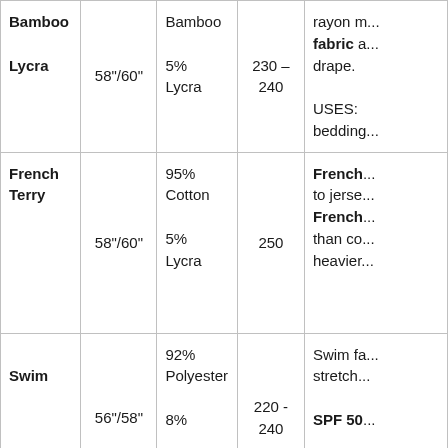| Fabric | Width | Composition | GSM | Notes |
| --- | --- | --- | --- | --- |
| Bamboo Lycra | 58"/60" | Bamboo
5%
Lycra | 230 – 240 | rayon m... fabric a... drape.

USES: bedding... |
| French Terry | 58"/60" | 95%
Cotton
5%
Lycra | 250 | French... to jerse... French... than co... heavier... |
| Swim | 56"/58" | 92%
Polyester
8%... | 220 - 240 | Swim fa... stretch...
SPF 50... |